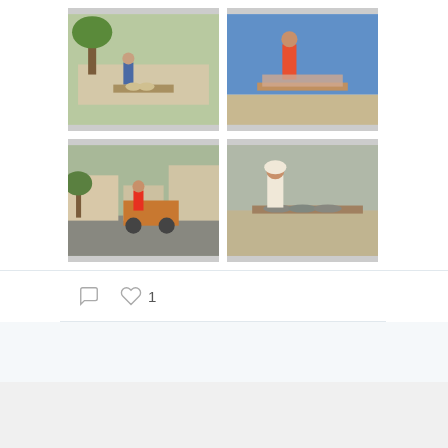[Figure (photo): Four photos in a 2x2 grid showing street market scenes: top-left shows a vendor under a tree, top-right shows a person with meat/produce, bottom-left shows a person on a motorized cart, bottom-right shows a woman selling fish.]
[Figure (infographic): Twitter action bar with comment icon and heart/like icon showing count of 1]
View more on Twitter
Learn more about privacy on Twitter
Advertisements
[Figure (logo): WordPress VIP logo]
[Figure (other): Advertisement banner with gradient orange/peach background and 'Learn more →' button]